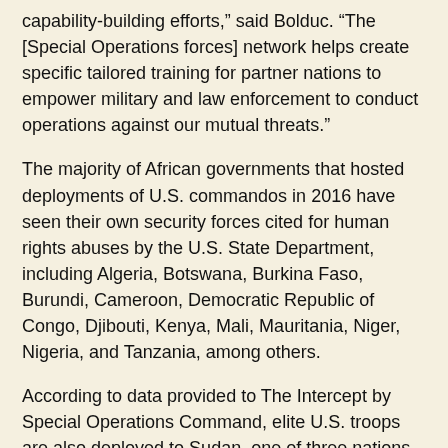capability-building efforts,” said Bolduc. “The [Special Operations forces] network helps create specific tailored training for partner nations to empower military and law enforcement to conduct operations against our mutual threats.”
The majority of African governments that hosted deployments of U.S. commandos in 2016 have seen their own security forces cited for human rights abuses by the U.S. State Department, including Algeria, Botswana, Burkina Faso, Burundi, Cameroon, Democratic Republic of Congo, Djibouti, Kenya, Mali, Mauritania, Niger, Nigeria, and Tanzania, among others.
According to data provided to The Intercept by Special Operations Command, elite U.S. troops are also deployed to Sudan, one of three nations, along with Iran and Syria, cited by the U.S. as “state sponsors of terrorism.”
“U.S. [Special Operations forces] have occasionally met with U.S. State Dept. and interagency partners in Sudan to discuss the overall security situation in the region.” Africa